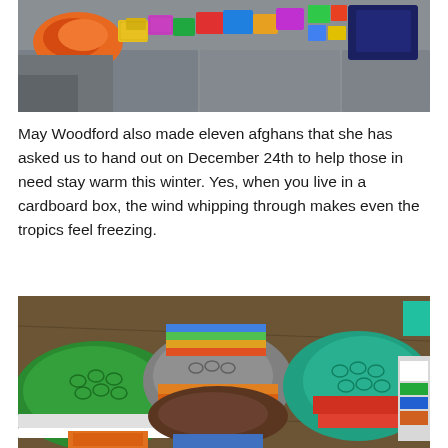[Figure (photo): Colorful crocheted items and knitted squares arranged on a gray sofa, with vibrant multicolored yarns and fabric pieces visible]
May Woodford also made eleven afghans that she has asked us to hand out on December 24th to help those in need stay warm this winter. Yes, when you live in a cardboard box, the wind whipping through makes even the tropics feel freezing.
[Figure (photo): A pile of colorful crocheted afghans/blankets in various colors including green, gray, orange, teal, blue, red, and white, folded and stacked on a wooden surface]